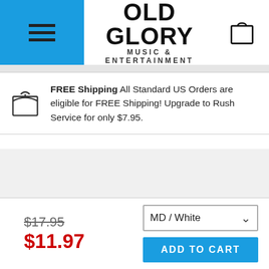OLD GLORY MUSIC & ENTERTAINMENT
FREE Shipping All Standard US Orders are eligible for FREE Shipping! Upgrade to Rush Service for only $7.95.
$17.95
$11.97
MD / White
ADD TO CART